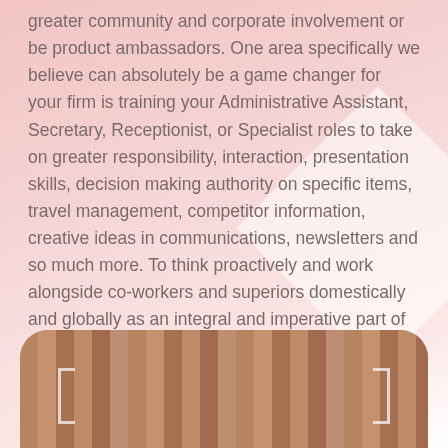greater community and corporate involvement or be product ambassadors. One area specifically we believe can absolutely be a game changer for your firm is training your Administrative Assistant, Secretary, Receptionist, or Specialist roles to take on greater responsibility, interaction, presentation skills, decision making authority on specific items, travel management, competitor information, creative ideas in communications, newsletters and so much more. To think proactively and work alongside co-workers and superiors domestically and globally as an integral and imperative part of your network. Have a unique need specific to your business? We are happy to discuss how we can help. Contact us for a brief consultation on how we can best be of assistance.
[Figure (photo): A photo showing wooden window blinds or slats, with warm brown tones, displayed in a rounded rectangle frame at the bottom of the page.]